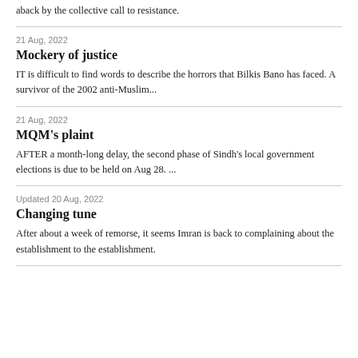aback by the collective call to resistance.
21 Aug, 2022
Mockery of justice
IT is difficult to find words to describe the horrors that Bilkis Bano has faced. A survivor of the 2002 anti-Muslim...
21 Aug, 2022
MQM's plaint
AFTER a month-long delay, the second phase of Sindh's local government elections is due to be held on Aug 28. ...
Updated 20 Aug, 2022
Changing tune
After about a week of remorse, it seems Imran is back to complaining about the establishment to the establishment.